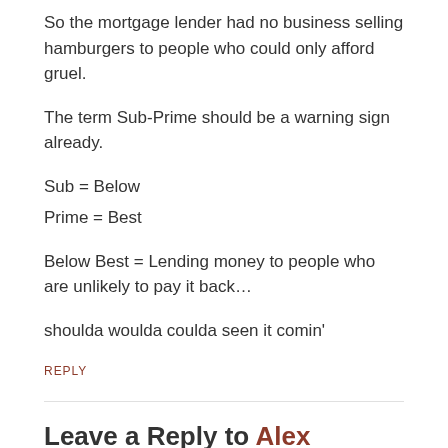So the mortgage lender had no business selling hamburgers to people who could only afford gruel.
The term Sub-Prime should be a warning sign already.
Sub = Below
Prime = Best
Below Best = Lending money to people who are unlikely to pay it back…
shoulda woulda coulda seen it comin'
REPLY
Leave a Reply to Alex
Cancel reply
Your email address will not be published. Required